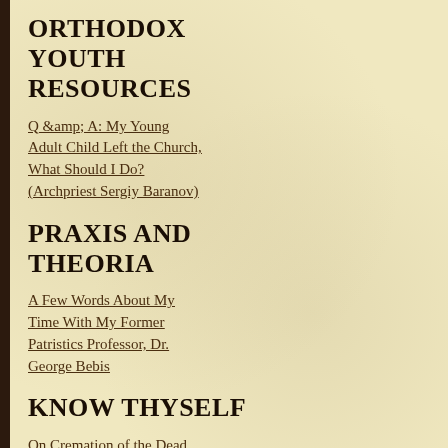ORTHODOX YOUTH RESOURCES
Q &amp; A: My Young Adult Child Left the Church, What Should I Do? (Archpriest Sergiy Baranov)
PRAXIS AND THEORIA
A Few Words About My Time With My Former Patristics Professor, Dr. George Bebis
KNOW THYSELF
On Cremation of the Dead (St. Paisios the Athonite)
SALVATION OF SINNERS
The Spiritual Mirror